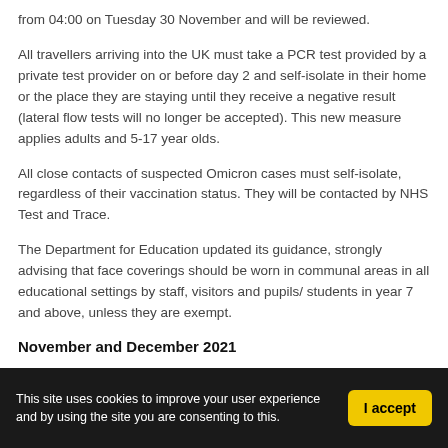from 04:00 on Tuesday 30 November and will be reviewed.
All travellers arriving into the UK must take a PCR test provided by a private test provider on or before day 2 and self-isolate in their home or the place they are staying until they receive a negative result (lateral flow tests will no longer be accepted). This new measure applies adults and 5-17 year olds.
All close contacts of suspected Omicron cases must self-isolate, regardless of their vaccination status. They will be contacted by NHS Test and Trace.
The Department for Education updated its guidance, strongly advising that face coverings should be worn in communal areas in all educational settings by staff, visitors and pupils/ students in year 7 and above, unless they are exempt.
November and December 2021
This site uses cookies to improve your user experience and by using the site you are consenting to this.